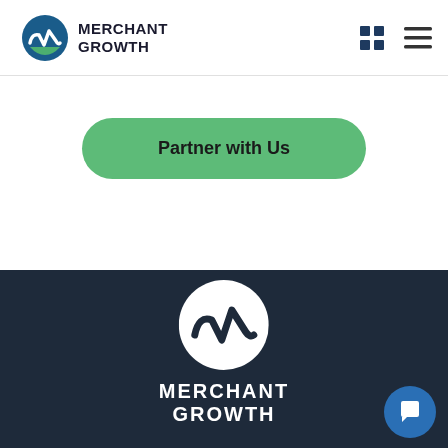[Figure (logo): Merchant Growth logo with circular icon (blue/green M mark) and bold text 'MERCHANT GROWTH']
[Figure (other): Navigation icons: grid/apps icon and hamburger menu icon in dark navy]
Partner with Us
[Figure (logo): Merchant Growth footer logo: white circular M icon above white text 'MERCHANT GROWTH']
[Figure (other): Chat bubble icon button (dark blue circle with white speech bubble icon) in bottom right corner]